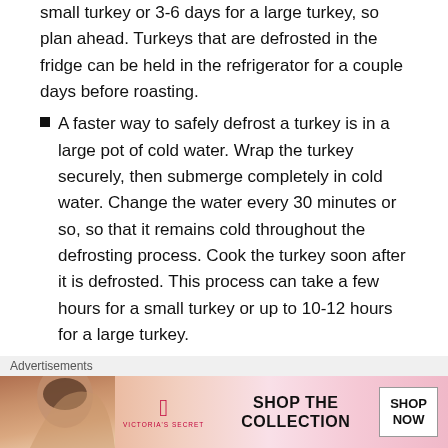small turkey or 3-6 days for a large turkey, so plan ahead. Turkeys that are defrosted in the fridge can be held in the refrigerator for a couple days before roasting.
A faster way to safely defrost a turkey is in a large pot of cold water. Wrap the turkey securely, then submerge completely in cold water. Change the water every 30 minutes or so, so that it remains cold throughout the defrosting process. Cook the turkey soon after it is defrosted. This process can take a few hours for a small turkey or up to 10-12 hours for a large turkey.
The microwave is another option for safely defrosting a turkey, assuming you can fit your turkey in your microwave. To prevent bacteria from multiplying, turke...
Advertisements
[Figure (illustration): Victoria's Secret advertisement banner with model, VS logo, 'SHOP THE COLLECTION' text and 'SHOP NOW' button]